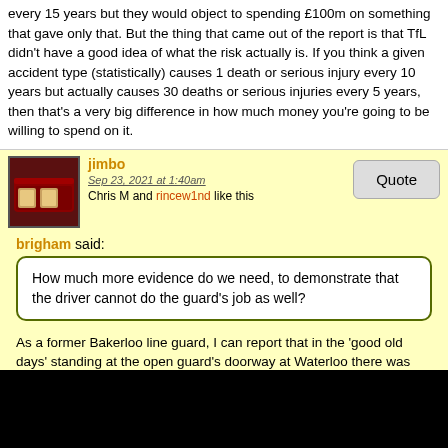every 15 years but they would object to spending £100m on something that gave only that. But the thing that came out of the report is that TfL didn't have a good idea of what the risk actually is. If you think a given accident type (statistically) causes 1 death or serious injury every 10 years but actually causes 30 deaths or serious injuries every 5 years, then that's a very big difference in how much money you're going to be willing to spend on it.
jimbo
Sep 23, 2021 at 1:40am
Chris M and rincew1nd like this
brigham said:
How much more evidence do we need, to demonstrate that the driver cannot do the guard's job as well?
As a former Bakerloo line guard, I can report that in the 'good old days' standing at the open guard's doorway at Waterloo there was little view beyond the adjoining car. One depended on a platform attendant to advise when the train doors were clear for closing. Outside the peaks there was no assistance, but by crossing to the platform wall, maybe half a car forward, it was possible to see the rear half of the train. One then walked back to the guard's position to yell “mind the doors”, but passenger access was at the driver's end of the platform and they continually arrived from